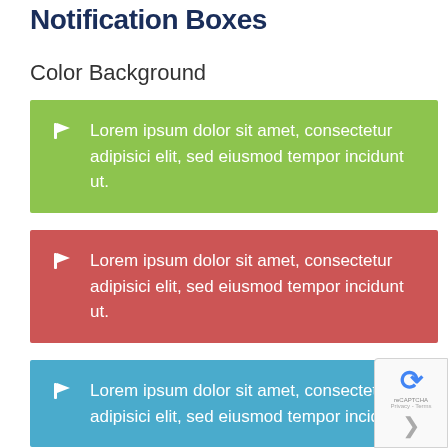Notification Boxes
Color Background
Lorem ipsum dolor sit amet, consectetur adipisici elit, sed eiusmod tempor incidunt ut.
Lorem ipsum dolor sit amet, consectetur adipisici elit, sed eiusmod tempor incidunt ut.
Lorem ipsum dolor sit amet, consectetur adipisici elit, sed eiusmod tempor incidunt